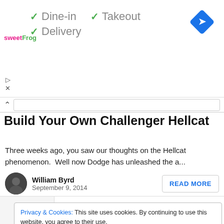[Figure (screenshot): Ad banner for sweetFrog with green checkmarks showing Dine-in, Takeout, Delivery options and a blue Google Maps navigation diamond icon]
Build Your Own Challenger Hellcat
Three weeks ago, you saw our thoughts on the Hellcat phenomenon.  Well now Dodge has unleashed the a...
William Byrd
September 9, 2014
READ MORE
Privacy & Cookies: This site uses cookies. By continuing to use this website, you agree to their use.
To find out more, including how to control cookies, see here:
Cookie Policy
Close and accept
3 Share  [Facebook] 3  [Twitter]  [Pinterest]  [Email]